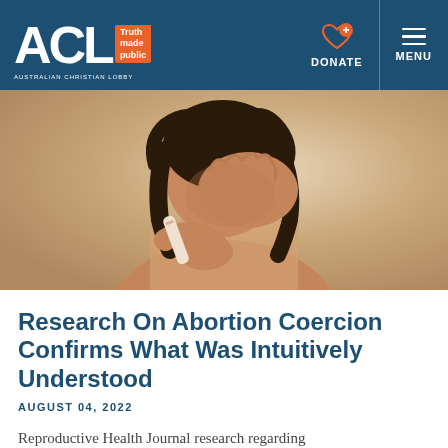[Figure (logo): ACL Australian Christian Lobby logo with orange bracket and 'Truth made public' tagline, on dark blue navigation bar with DONATE and MENU buttons]
[Figure (photo): Woman with dark hair covering her face with her hand, holding a pregnancy test, appearing distressed, warm beige background]
Research On Abortion Coercion Confirms What Was Intuitively Understood
AUGUST 04, 2022
Reproductive Health Journal research regarding